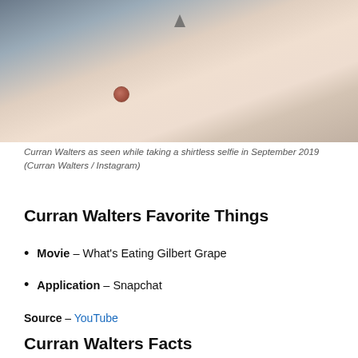[Figure (photo): Shirtless selfie photo of Curran Walters, showing torso against a blue-gray background, with a necklace visible]
Curran Walters as seen while taking a shirtless selfie in September 2019 (Curran Walters / Instagram)
Curran Walters Favorite Things
Movie – What's Eating Gilbert Grape
Application – Snapchat
Source – YouTube
Curran Walters Facts